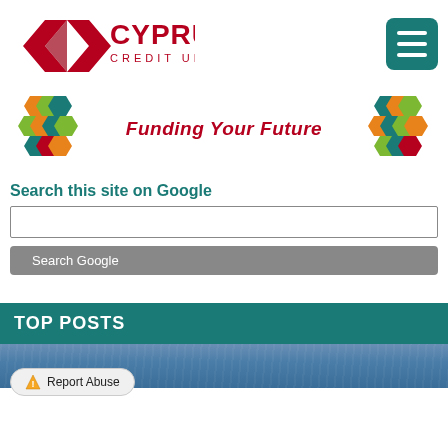[Figure (logo): Cyprus Credit Union logo with red geometric diamond shape and text CYPRUS CREDIT UNION]
[Figure (logo): Teal hamburger menu button with three horizontal white lines]
[Figure (logo): Colorful hexagonal mosaic icon on left side of Funding Your Future bar]
Funding Your Future
[Figure (logo): Colorful hexagonal mosaic icon on right side of Funding Your Future bar]
Search this site on Google
[Figure (screenshot): Search input text box]
[Figure (screenshot): Search Google button]
TOP POSTS
[Figure (photo): Bottom strip showing denim jeans texture in blue tones]
Report Abuse